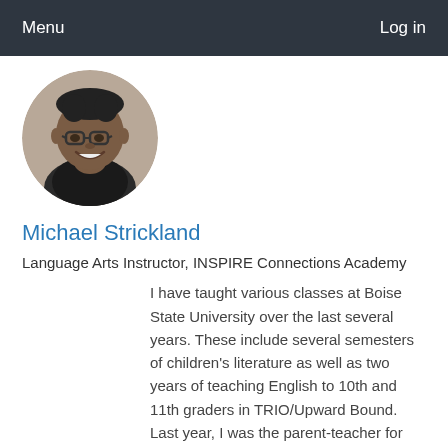Menu   Log in
[Figure (photo): Circular profile photo of Michael Strickland, a smiling man wearing glasses]
Michael Strickland
Language Arts Instructor, INSPIRE Connections Academy
I have taught various classes at Boise State University over the last several years. These include several semesters of children's literature as well as two years of teaching English to 10th and 11th graders in TRIO/Upward Bound. Last year, I was the parent-teacher for my 5th... Read More →